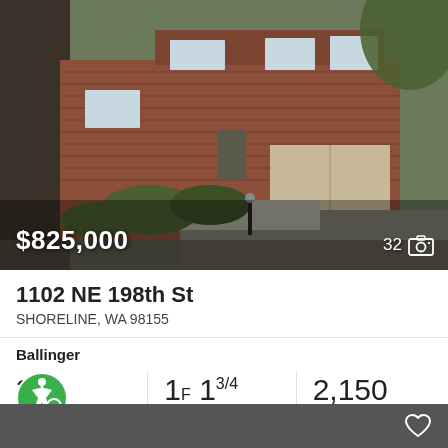[Figure (photo): Exterior photo of a mid-century modern split-level home with red/brown horizontal wood siding, white-framed windows, concrete retaining wall, garage, and tree-lined driveway]
$825,000
32 [photo count]
1102 NE 198th St
SHORELINE, WA 98155
Ballinger
3
Beds
1F  1 3/4
Baths
2,150
Sq.Ft.
MLS® #: 1984643